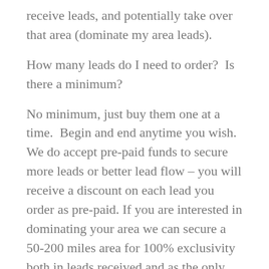receive leads, and potentially take over that area (dominate my area leads).
How many leads do I need to order?  Is there a minimum?
No minimum, just buy them one at a time.  Begin and end anytime you wish.  We do accept pre-paid funds to secure more leads or better lead flow – you will receive a discount on each lead you order as pre-paid. If you are interested in dominating your area we can secure a 50-200 miles area for 100% exclusivity both in leads received and as the only agent in that area who is receiving leads from ALL [Chat]